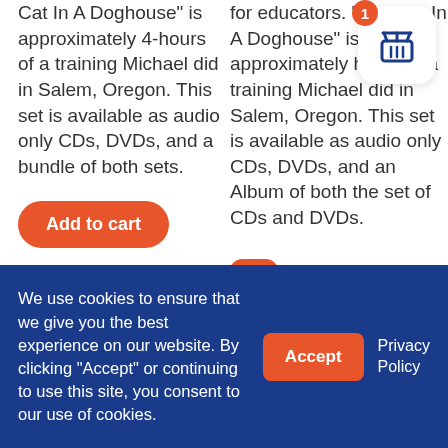Cat In A Doghouse" is approximately 4-hours of a training Michael did in Salem, Oregon. This set is available as audio only CDs, DVDs, and a bundle of both sets.
for educators. "The Cat In A Doghouse" is approximately hours of a training Michael did in Salem, Oregon. This set is available as audio only CDs, DVDs, and an Album of both the set of CDs and DVDs.
We use cookies to ensure that we give you the best experience on our website. By clicking "Accept" or continuing to use this site, you consent to our use of cookies.